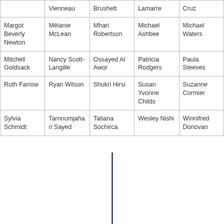|  | Vienneau | Brushett | Lamarre | Cruz |
| --- | --- | --- | --- | --- |
| Margot Beverly Newton | Mélanie McLean | Mhari Robertson | Michael Ashbee | Michael Waters |
| Mitchell Goldsack | Nancy Scott-Langille | Ossayed Al Awor | Patricia Rodgers | Paula Steeves |
| Ruth Farrow | Ryan Wilson | Shukri Hirsi | Susan Yvonne Childs | Suzanne Cormier |
| Sylvia Schmidt | Tarnnumjahan Sayed | Tatiana Sochirca | Wesley Nishi | Winnifred Donovan |
[Figure (other): Vertical dividing line in lower half of page]